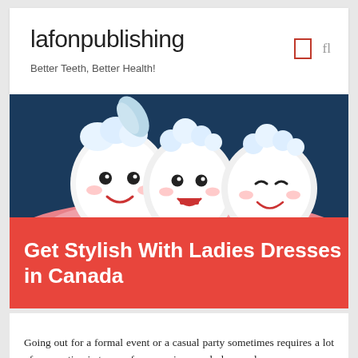lafonpublishing
Better Teeth, Better Health!
[Figure (illustration): Cartoon illustration of three smiling tooth characters with bubble foam on their heads, set against a dark navy blue background with pink gum base at the bottom]
Get Stylish With Ladies Dresses in Canada
Going out for a formal event or a casual party sometimes requires a lot of preparation in terms of accessories, wardrobes, and